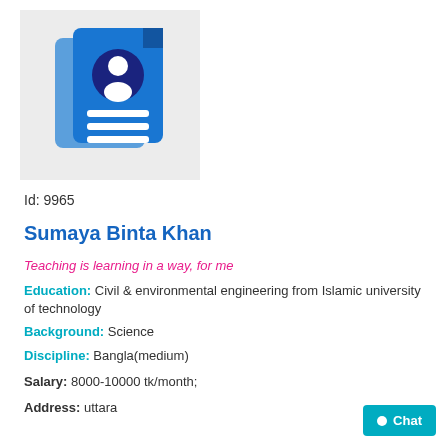[Figure (logo): Blue document/resume icon with person silhouette and text lines, on light grey background]
Id: 9965
Sumaya Binta Khan
Teaching is learning in a way, for me
Education: Civil & environmental engineering from Islamic university of technology
Background: Science
Discipline: Bangla(medium)
Salary: 8000-10000 tk/month;
Address: uttara